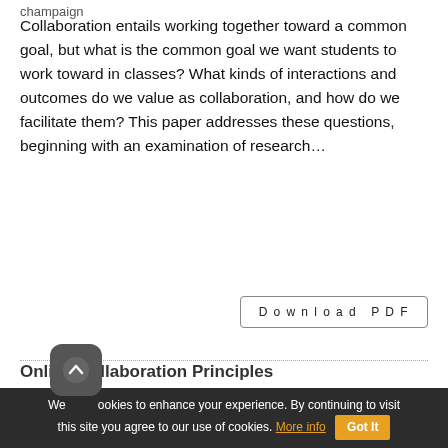champaign
Collaboration entails working together toward a common goal, but what is the common goal we want students to work toward in classes? What kinds of interactions and outcomes do we value as collaboration, and how do we facilitate them? This paper addresses these questions, beginning with an examination of research...
Online Collaboration Principles
D. R. Garrison, University of Calgary
Th er uses the community of inquiry model to